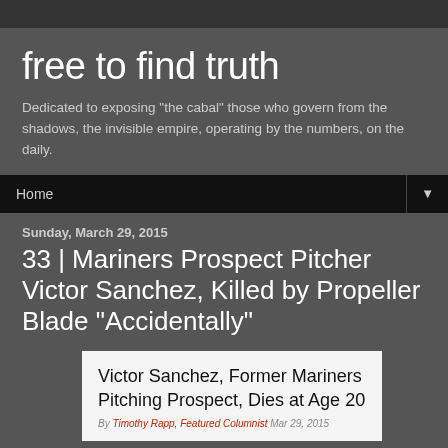free to find truth
Dedicated to exposing "the cabal" those who govern from the shadows, the invisible empire, operating by the numbers, on the daily.
Home ▼
Sunday, March 29, 2015
33 | Mariners Prospect Pitcher Victor Sanchez, Killed by Propeller Blade "Accidentally"
[Figure (screenshot): Article card: Victor Sanchez, Former Mariners Pitching Prospect, Dies at Age 20. By Timothy Rapp, Featured Columnist Mar 29, 2015]
[Figure (screenshot): Article snippet showing 205.7K stat and text: Former Seattle Mariners pitching prospect Victor Sanchez died]